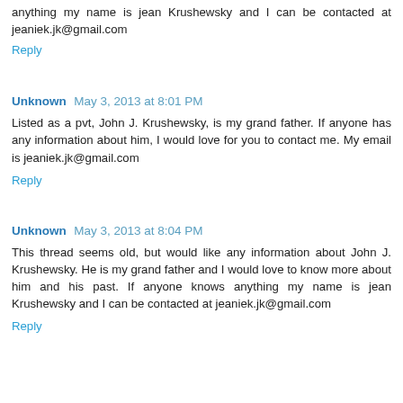anything my name is jean Krushewsky and I can be contacted at jeaniek.jk@gmail.com
Reply
Unknown  May 3, 2013 at 8:01 PM
Listed as a pvt, John J. Krushewsky, is my grand father. If anyone has any information about him, I would love for you to contact me. My email is jeaniek.jk@gmail.com
Reply
Unknown  May 3, 2013 at 8:04 PM
This thread seems old, but would like any information about John J. Krushewsky. He is my grand father and I would love to know more about him and his past. If anyone knows anything my name is jean Krushewsky and I can be contacted at jeaniek.jk@gmail.com
Reply